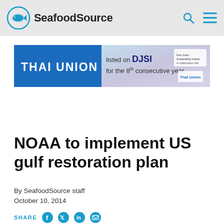SeafoodSource
[Figure (other): Thai Union advertisement banner: 'THAI UNION listed on DJSI for the 8th consecutive year' with Dow Jones Sustainability Indices logo and Thai Union logo on a blue/teal background]
NOAA to implement US gulf restoration plan
By SeafoodSource staff
October 10, 2014
SHARE